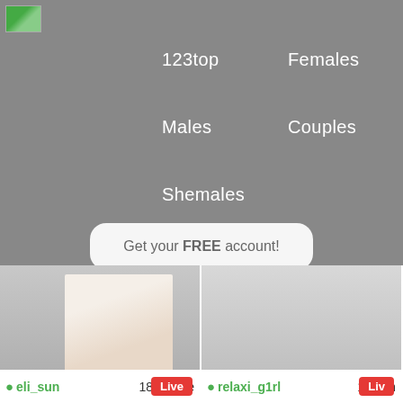[Figure (screenshot): Website navigation menu on grey background with logo, category links (123top, Females, Males, Couples, Shemales), and a CTA button]
123top
Females
Males
Couples
Shemales
Get your FREE account!
[Figure (photo): Live webcam thumbnail of eli_sun, 18 female, showing person in white shirt. Red Live badge visible.]
eli_sun    18 female
[Figure (photo): Live webcam thumbnail of relaxi_g1rl, 19 female, showing person in bathroom. Red Live badge visible.]
relaxi_g1rl    19 fem